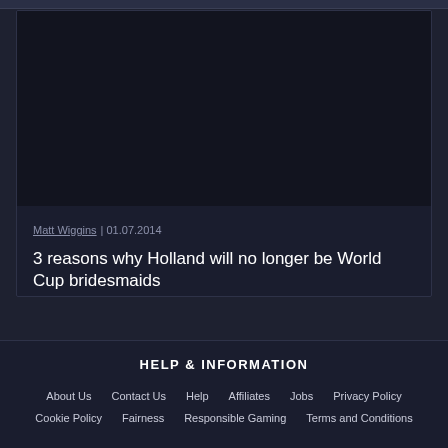[Figure (photo): Dark article card with image placeholder area, author byline, date, and article title on dark background]
Matt Wiggins | 01.07.2014
3 reasons why Holland will no longer be World Cup bridesmaids
HELP & INFORMATION
About Us
Contact Us
Help
Affiliates
Jobs
Privacy Policy
Cookie Policy
Fairness
Responsible Gaming
Terms and Conditions